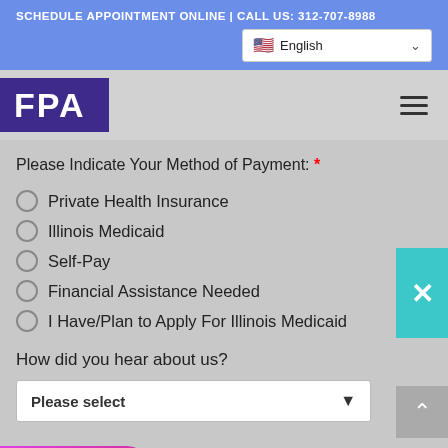SCHEDULE APPOINTMENT ONLINE | CALL US: 312-707-8988
FPA
Please Indicate Your Method of Payment: *
Private Health Insurance
Illinois Medicaid
Self-Pay
Financial Assistance Needed
I Have/Plan to Apply For Illinois Medicaid
How did you hear about us?
Please select